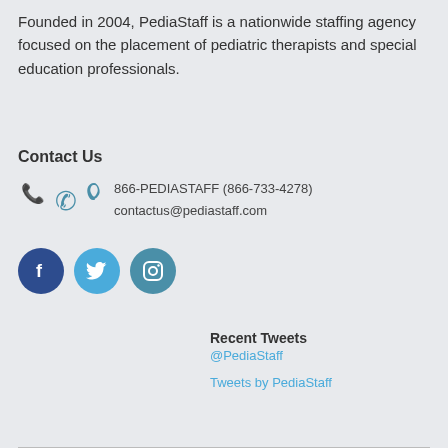Founded in 2004, PediaStaff is a nationwide staffing agency focused on the placement of pediatric therapists and special education professionals.
Contact Us
866-PEDIASTAFF (866-733-4278)
contactus@pediastaff.com
[Figure (infographic): Social media icons: Facebook (dark blue circle with 'f'), Twitter (light blue circle with bird), Instagram (teal circle with camera)]
Recent Tweets
@PediaStaff
Tweets by PediaStaff